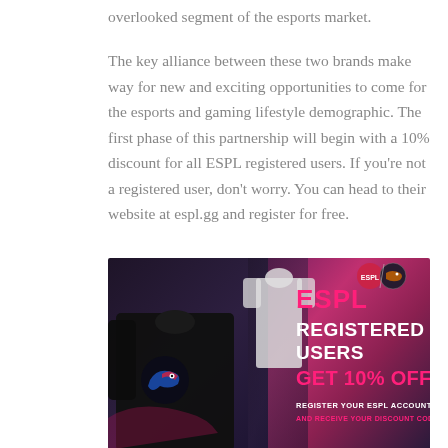overlooked segment of the esports market.
The key alliance between these two brands make way for new and exciting opportunities to come for the esports and gaming lifestyle demographic. The first phase of this partnership will begin with a 10% discount for all ESPL registered users. If you're not a registered user, don't worry. You can head to their website at espl.gg and register for free.
[Figure (photo): Advertisement banner for ESPL showing dark clothing/merchandise on the left and promotional text on the right: 'ESPL REGISTERED USERS GET 10% OFF!' with subtext 'REGISTER YOUR ESPL ACCOUNT NOW AND RECEIVE YOUR DISCOUNT CODE' on a dark purple/pink gradient background.]